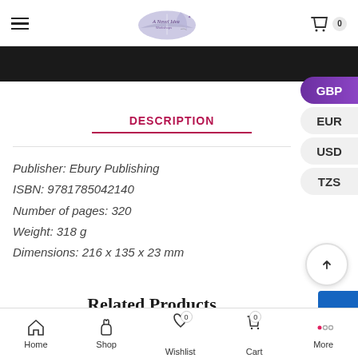A Novel Idea Workshops — navigation header with hamburger menu, logo, and cart (0)
[Figure (screenshot): Black promotional banner across the page]
[Figure (infographic): Currency switcher sidebar with GBP (active, purple), EUR, USD, TZS options]
DESCRIPTION
Publisher: Ebury Publishing
ISBN: 9781785042140
Number of pages: 320
Weight: 318 g
Dimensions: 216 x 135 x 23 mm
Related Products
Home | Shop | Wishlist (0) | Cart (0) | More